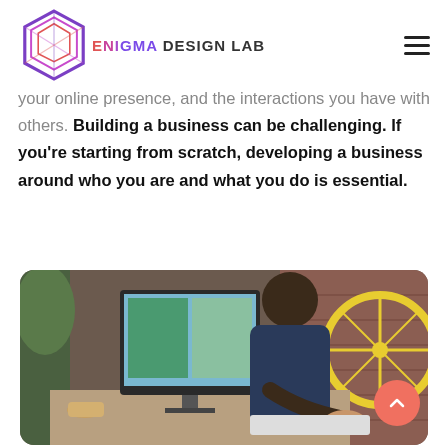ENIGMA DESIGN LAB
your online presence, and the interactions you have with others. Building a business can be challenging. If you're starting from scratch, developing a business around who you are and what you do is essential.
[Figure (photo): A person working at a computer desk, viewed from the side, with a monitor showing design work, a coffee cup on the desk, and a bicycle in the background against a brick wall.]